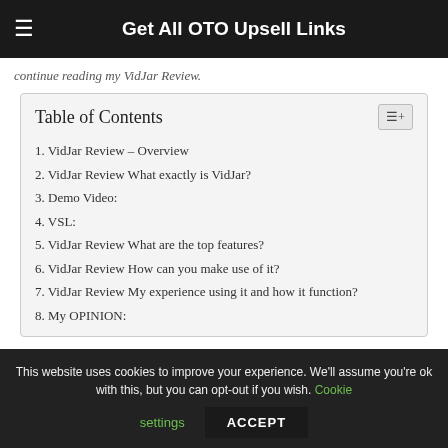Get All OTO Upsell Links
continue reading my VidJar Review.
| Table of Contents |
| 1. VidJar Review – Overview |
| 2. VidJar Review What exactly is VidJar? |
| 3. Demo Video: |
| 4. VSL: |
| 5. VidJar Review What are the top features? |
| 6. VidJar Review How can you make use of it? |
| 7. VidJar Review My experience using it and how it function? |
| 8. My OPINION: |
This website uses cookies to improve your experience. We'll assume you're ok with this, but you can opt-out if you wish. Cookie settings ACCEPT